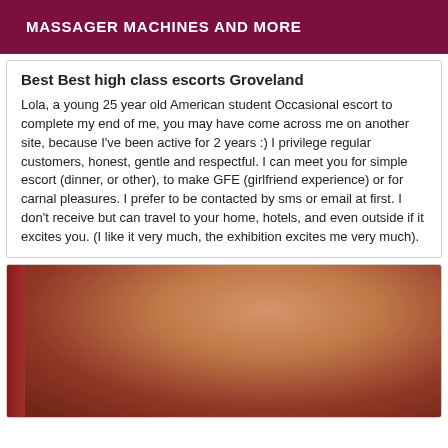MASSAGER MACHINES AND MORE
Best Best high class escorts Groveland
Lola, a young 25 year old American student Occasional escort to complete my end of me, you may have come across me on another site, because I've been active for 2 years :) I privilege regular customers, honest, gentle and respectful. I can meet you for simple escort (dinner, or other), to make GFE (girlfriend experience) or for carnal pleasures. I prefer to be contacted by sms or email at first. I don't receive but can travel to your home, hotels, and even outside if it excites you. (I like it very much, the exhibition excites me very much).
[Figure (photo): Close-up photo with warm skin tones and a red element on the left side]